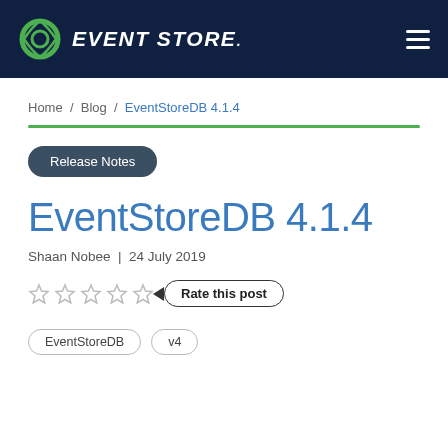EVENT STORE.
Home / Blog / EventStoreDB 4.1.4
Release Notes
EventStoreDB 4.1.4
Shaan Nobee | 24 July 2019
Rate this post
EventStoreDB  v4